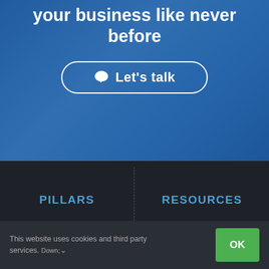your business like never before
[Figure (other): Call-to-action button with speech bubble icon and text 'Let's talk', white border rounded rectangle on blue background]
PILLARS
RESOURCES
This website uses cookies and third party services. ∨
OK